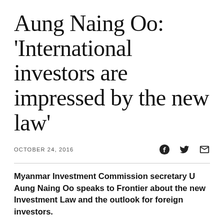Aung Naing Oo: 'International investors are impressed by the new law'
OCTOBER 24, 2016
Myanmar Investment Commission secretary U Aung Naing Oo speaks to Frontier about the new Investment Law and the outlook for foreign investors.